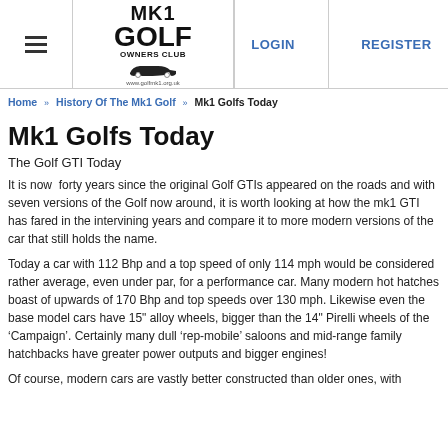MK1 GOLF OWNERS CLUB | LOGIN | REGISTER
Home » History Of The Mk1 Golf » Mk1 Golfs Today
Mk1 Golfs Today
The Golf GTI Today
It is now  forty years since the original Golf GTIs appeared on the roads and with seven versions of the Golf now around, it is worth looking at how the mk1 GTI has fared in the intervining years and compare it to more modern versions of the car that still holds the name.
Today a car with 112 Bhp and a top speed of only 114 mph would be considered rather average, even under par, for a performance car. Many modern hot hatches boast of upwards of 170 Bhp and top speeds over 130 mph. Likewise even the base model cars have 15" alloy wheels, bigger than the 14" Pirelli wheels of the 'Campaign'. Certainly many dull 'rep-mobile' saloons and mid-range family hatchbacks have greater power outputs and bigger engines!
Of course, modern cars are vastly better constructed than older ones, with